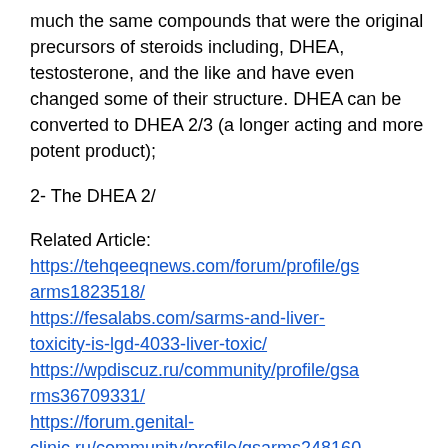much the same compounds that were the original precursors of steroids including, DHEA, testosterone, and the like and have even changed some of their structure. DHEA can be converted to DHEA 2/3 (a longer acting and more potent product);
2- The DHEA 2/
Related Article: https://tehqeeqnews.com/forum/profile/gsarms1823518/ https://fesalabs.com/sarms-and-liver-toxicity-is-lgd-4033-liver-toxic/ https://wpdiscuz.ru/community/profile/gsarms36709331/ https://forum.genital-clinic.ru/community/profile/gsarms24816055/